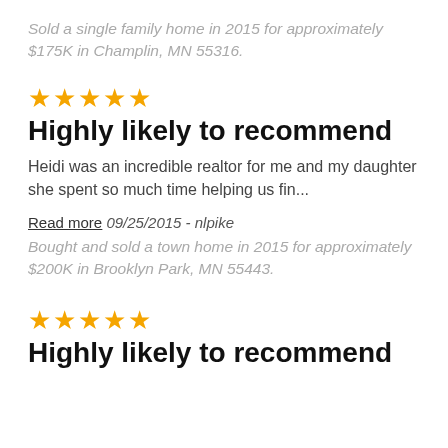Sold a single family home in 2015 for approximately $175K in Champlin, MN 55316.
[Figure (other): Five gold stars rating]
Highly likely to recommend
Heidi was an incredible realtor for me and my daughter she spent so much time helping us fin...
Read more 09/25/2015 - nlpike
Bought and sold a town home in 2015 for approximately $200K in Brooklyn Park, MN 55443.
[Figure (other): Five gold stars rating]
Highly likely to recommend